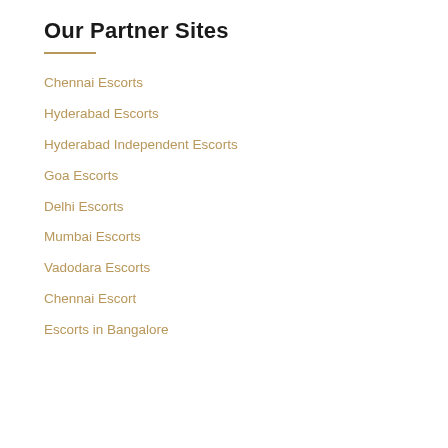Our Partner Sites
Chennai Escorts
Hyderabad Escorts
Hyderabad Independent Escorts
Goa Escorts
Delhi Escorts
Mumbai Escorts
Vadodara Escorts
Chennai Escort
Escorts in Bangalore